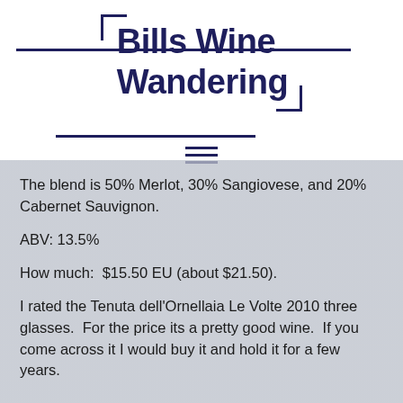Bills Wine Wandering
The blend is 50% Merlot, 30% Sangiovese, and 20% Cabernet Sauvignon.
ABV: 13.5%
How much:  $15.50 EU (about $21.50).
I rated the Tenuta dell'Ornellaia Le Volte 2010 three glasses.  For the price its a pretty good wine.  If you come across it I would buy it and hold it for a few years.